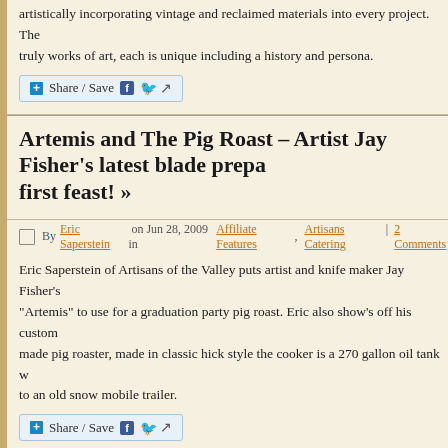artistically incorporating vintage and reclaimed materials into every project. The truly works of art, each is unique including a history and persona.
Share / Save
Artemis and The Pig Roast – Artist Jay Fisher's latest blade prepares for its first feast! »
By Eric Saperstein on Jun 28, 2009 in Affiliate Features, Artisans Catering | 2 Comments
Eric Saperstein of Artisans of the Valley puts artist and knife maker Jay Fisher's "Artemis" to use for a graduation party pig roast. Eric also show's off his custom made pig roaster, made in classic hick style the cooker is a 270 gallon oil tank w to an old snow mobile trailer.
Share / Save
Alice Leon's – The Alice Project intelligent, hooky rock 'n' roll tha unequivocally soothes the soul. »
By Eric Saperstein on Jun 23, 2009 in Affiliate Features, Artist Marketing | 3 Comments
Alice is a singer songwriter with a big dream and alot to say. Working on 5th CD The Alice Project, writing songs for TV and film and embracing life every day: